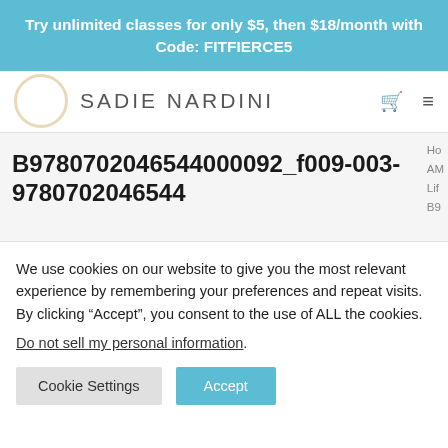Try unlimited classes for only $5, then $18/month with Code: FITFIERCE5
[Figure (logo): Sadie Nardini logo with circular emblem and brand name text, cart icon and hamburger menu icon]
B9780702046544000092_f009-003-9780702046544
We use cookies on our website to give you the most relevant experience by remembering your preferences and repeat visits. By clicking “Accept”, you consent to the use of ALL the cookies.
Do not sell my personal information.